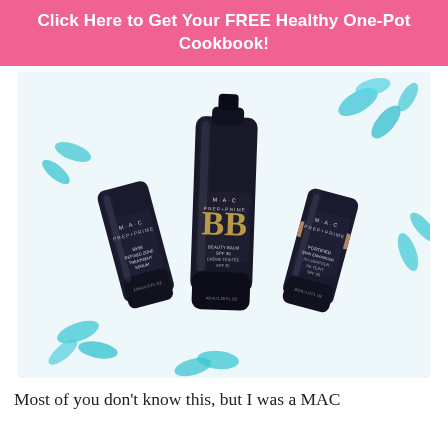Click Here to Get Your FREE Healthy One-Pot Cookbook!
[Figure (photo): Three MAC Prep+Prime cosmetic tubes arranged on a white surface with teal blue flower petals scattered around. Left tube: Skin Refined Zone Treatment Serum. Center tube (tallest): BB Beauty Balm SPF 35 Crème Teintée. Right tube: Fortified Skin Enhancer Illuminant de Teint SPF 35.]
Most of you don't know this, but I was a MAC